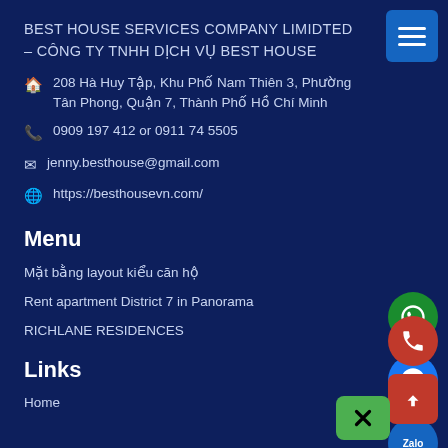BEST HOUSE SERVICES COMPANY LIMIDTED – CÔNG TY TNHH DỊCH VỤ BEST HOUSE
🏠 208 Hà Huy Tập, Khu Phố Nam Thiên 3, Phường Tân Phong, Quận 7, Thành Phố Hồ Chí Minh
📞 0909 197 412 or 0911 74 5505
✉ jenny.besthouse@gmail.com
🌐 https://besthousevn.com/
Menu
Mặt bằng layout kiểu căn hộ
Rent apartment District 7 in Panorama
RICHLANE RESIDENCES
Links
Home